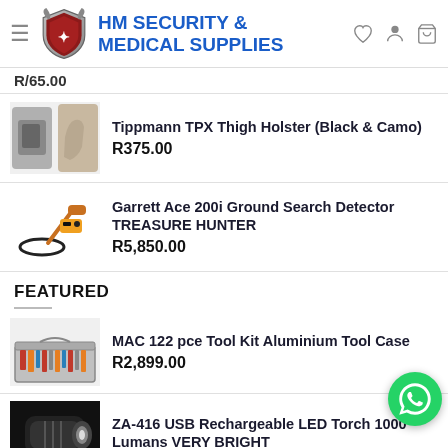HM SECURITY & MEDICAL SUPPLIES
R/65.00
Tippmann TPX Thigh Holster (Black & Camo)
R375.00
Garrett Ace 200i Ground Search Detector TREASURE HUNTER
R5,850.00
FEATURED
MAC 122 pce Tool Kit Aluminium Tool Case
R2,899.00
ZA-416 USB Rechargeable LED Torch 1000 Lumans VERY BRIGHT